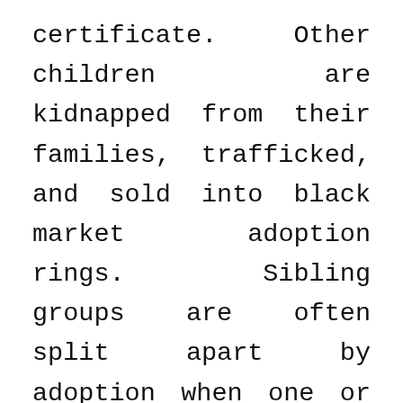certificate. Other children are kidnapped from their families, trafficked, and sold into black market adoption rings. Sibling groups are often split apart by adoption when one or both parents died, leaving the children half or full orphans; this happened in my family when our mother died three months after my birth. Many poor families are forced to give up the last child born to survive